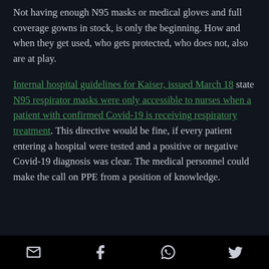Not having enough N95 masks or medical gloves and full coverage gowns in stock, is only the beginning. How and when they get used, who gets protected, who does not, also are at play.
Internal hospital guidelines for Kaiser, issued March 18 state N95 respirator masks were only accessible to nurses when a patient with confirmed Covid-19 is receiving respiratory treatment. This directive would be fine, if every patient entering a hospital were tested and a positive or negative Covid-19 diagnosis was clear. The medical personnel could make the call on PPE from a position of knowledge.
[email icon] [facebook icon] [whatsapp icon] [twitter icon]